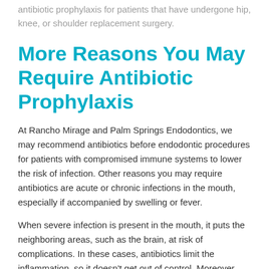antibiotic prophylaxis for patients that have undergone hip, knee, or shoulder replacement surgery.
More Reasons You May Require Antibiotic Prophylaxis
At Rancho Mirage and Palm Springs Endodontics, we may recommend antibiotics before endodontic procedures for patients with compromised immune systems to lower the risk of infection. Other reasons you may require antibiotics are acute or chronic infections in the mouth, especially if accompanied by swelling or fever.
When severe infection is present in the mouth, it puts the neighboring areas, such as the brain, at risk of complications. In these cases, antibiotics limit the inflammation, so it doesn't get out of control. Moreover, having an infection makes it difficult to numb the area with a local anesthetic, so it's best to control it with antibiotics prior to endodontic treatment.